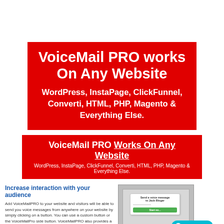[Figure (infographic): Red box with white bold text reading 'VoiceMail PRO works On Any Website' and subtitle 'WordPress, InstaPage, ClickFunnel, Converti, HTML, PHP, Magento & Everything Else.']
[Figure (infographic): Red banner with white text 'VoiceMail PRO Works On Any Website' (underlined) and smaller subtitle 'WordPress, InstaPage, ClickFunnel, Converti, HTML, PHP, Magento & Everything Else.']
Increase interaction with your audience
Add VoiceMailPRO to your website and visitors will be able to send you voice messages from anywhere on your website by simply clicking on a button. You can use a custom button or the VoiceMailPro side button. VoiceMailPRO also provides a hosted voicemail page, so you can receive voice messages without installing anything on your website.
[Figure (screenshot): Screenshot of a website with a VoiceMail popup form and a green 'Start now' button, alongside a teal 'Message' button overlay]